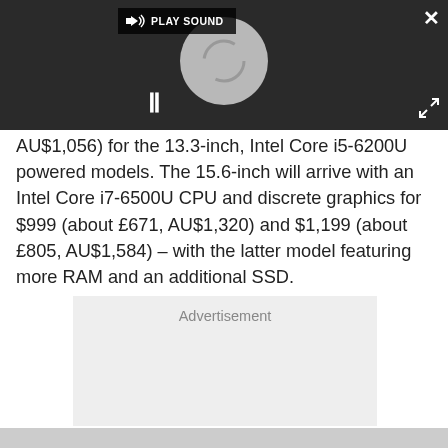[Figure (screenshot): Dark video player overlay showing a spinner/loading circle, play sound button at top, pause button (II) at bottom left, close (X) button at top right, and expand arrows at bottom right.]
AU$1,056) for the 13.3-inch, Intel Core i5-6200U powered models. The 15.6-inch will arrive with an Intel Core i7-6500U CPU and discrete graphics for $999 (about £671, AU$1,320) and $1,199 (about £805, AU$1,584) – with the latter model featuring more RAM and an additional SSD.
Advertisement